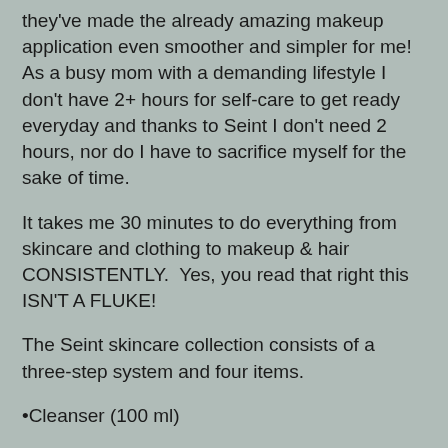they've made the already amazing makeup application even smoother and simpler for me! As a busy mom with a demanding lifestyle I don't have 2+ hours for self-care to get ready everyday and thanks to Seint I don't need 2 hours, nor do I have to sacrifice myself for the sake of time.
It takes me 30 minutes to do everything from skincare and clothing to makeup & hair CONSISTENTLY.  Yes, you read that right this ISN'T A FLUKE!
The Seint skincare collection consists of a three-step system and four items.
•Cleanser (100 ml)
•Toner (100 ml)